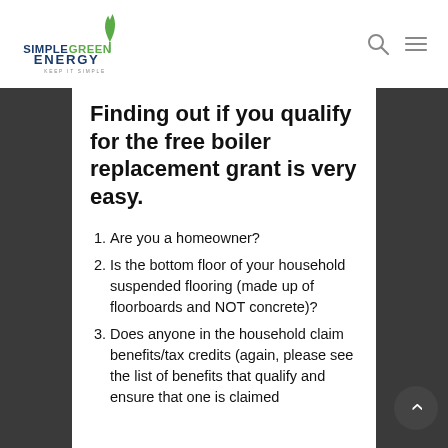[Figure (logo): Simple Green Energy logo — leaf/sprout icon above stylized text reading SIMPLEGREEN ENERGY KEEP IT SIMPLE]
Finding out if you qualify for the free boiler replacement grant is very easy.
Are you a homeowner?
Is the bottom floor of your household suspended flooring (made up of floorboards and NOT concrete)?
Does anyone in the household claim benefits/tax credits (again, please see the list of benefits that qualify and ensure that one is claimed